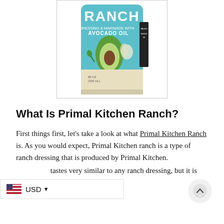[Figure (photo): A jar of Primal Kitchen Ranch Dressing & Marinade made with Avocado Oil, shown with teal/turquoise label featuring an avocado illustration]
What Is Primal Kitchen Ranch?
First things first, let's take a look at what Primal Kitchen Ranch is. As you would expect, Primal Kitchen ranch is a type of ranch dressing that is produced by Primal Kitchen.
The dressing tastes very similar to any ranch dressing, but it is special because of the way it is